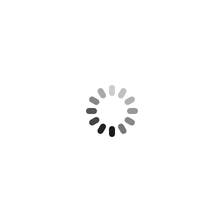[Figure (other): A circular loading spinner icon composed of 12 rounded rectangular segments arranged in a clock-like pattern. The segments transition from very light gray at the top-left through progressively darker shades of gray to near-black at the bottom, creating a rotation gradient effect typical of a loading/busy indicator.]